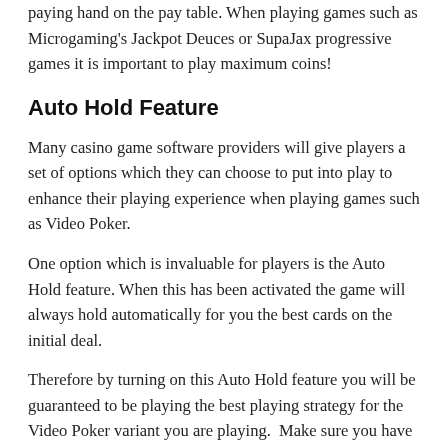paying hand on the pay table. When playing games such as Microgaming's Jackpot Deuces or SupaJax progressive games it is important to play maximum coins!
Auto Hold Feature
Many casino game software providers will give players a set of options which they can choose to put into play to enhance their playing experience when playing games such as Video Poker.
One option which is invaluable for players is the Auto Hold feature. When this has been activated the game will always hold automatically for you the best cards on the initial deal.
Therefore by turning on this Auto Hold feature you will be guaranteed to be playing the best playing strategy for the Video Poker variant you are playing.  Make sure you have it turned on and in play on every game you set into motion!